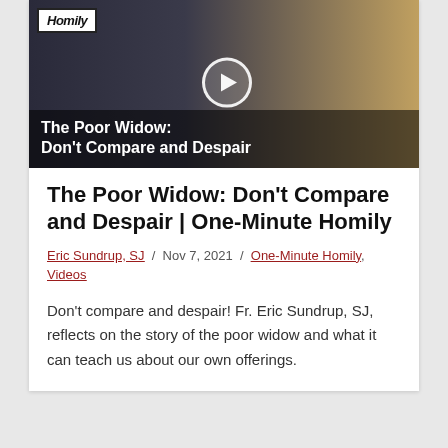[Figure (screenshot): Video thumbnail showing a priest in black clerical clothing with a play button overlay and text 'The Poor Widow: Don't Compare and Despair' at the bottom. Also shows a 'Homily' logo in top left and a religious painting on the right side.]
The Poor Widow: Don't Compare and Despair | One-Minute Homily
Eric Sundrup, SJ / Nov 7, 2021 / One-Minute Homily, Videos
Don't compare and despair! Fr. Eric Sundrup, SJ, reflects on the story of the poor widow and what it can teach us about our own offerings.